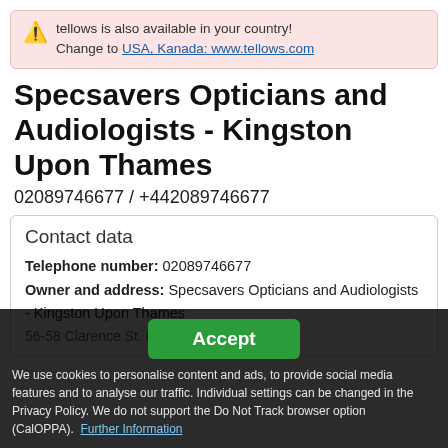tellows is also available in your country! Change to USA, Kanada: www.tellows.com
Specsavers Opticians and Audiologists - Kingston Upon Thames
02089746677 / +442089746677
Contact data
Telephone number: 02089746677
Owner and address: Specsavers Opticians and Audiologists - Kingston Upon Thames
56-58 Clarence St. Kingston upon
Accept
We use cookies to personalise content and ads, to provide social media features and to analyse our traffic. Individual settings can be changed in the Privacy Policy. We do not support the Do Not Track browser option (CalOPPA). Further Information